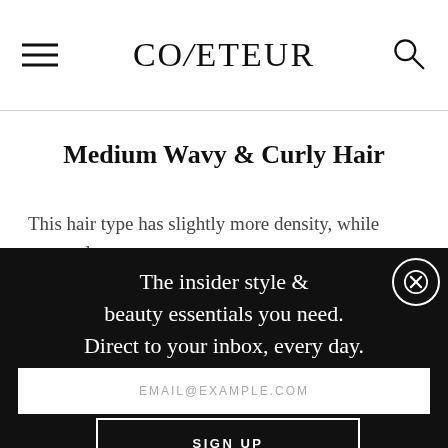COVETEUR
Medium Wavy & Curly Hair
This hair type has slightly more density, while textured
The insider style & beauty essentials you need. Direct to your inbox, every day.
EMAIL@EXAMPLE.COM
SIGN UP